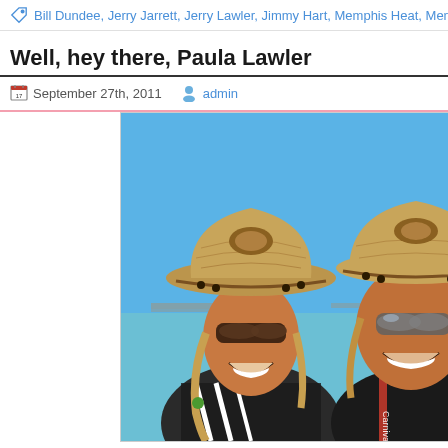Bill Dundee, Jerry Jarrett, Jerry Lawler, Jimmy Hart, Memphis Heat, Memphis Wrestl…
Well, hey there, Paula Lawler
September 27th, 2011   admin
[Figure (photo): Two women wearing straw cowboy hats and sunglasses laughing at the beach, one with Carnival cruise lanyard visible, blue sky and water in background.]